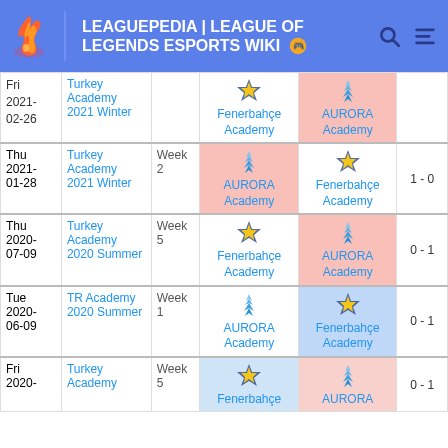LEAGUEPEDIA | LEAGUE OF LEGENDS ESPORTS WIKI
| Day/Date | League | Week | Team 1 | Team 2 | Score |
| --- | --- | --- | --- | --- | --- |
| Fri 2021-02-26 | Turkey Academy 2021 Winter |  | Fenerbahçe Academy | AURORA Academy |  |
| Thu 2021-01-28 | Turkey Academy 2021 Winter | Week 2 | AURORA Academy | Fenerbahçe Academy | 1 - 0 |
| Thu 2020-07-09 | Turkey Academy 2020 Summer | Week 5 | Fenerbahçe Academy | AURORA Academy | 0 - 1 |
| Tue 2020-06-09 | TR Academy 2020 Summer | Week 1 | AURORA Academy | Fenerbahçe Academy | 0 - 1 |
| Fri 2020- | Turkey Academy | Week 5 | Fenerbahçe | AURORA | 0 - 1 |